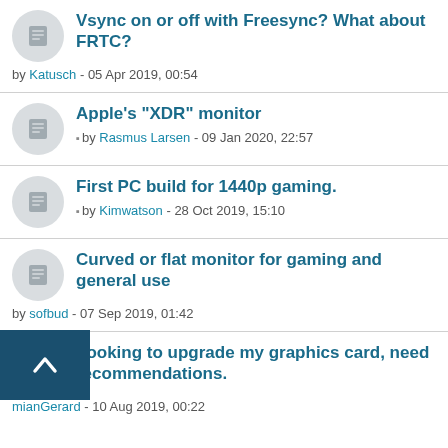Vsync on or off with Freesync? What about FRTC? by Katusch - 05 Apr 2019, 00:54
Apple's "XDR" monitor by Rasmus Larsen - 09 Jan 2020, 22:57
First PC build for 1440p gaming. by Kimwatson - 28 Oct 2019, 15:10
Curved or flat monitor for gaming and general use by sofbud - 07 Sep 2019, 01:42
Looking to upgrade my graphics card, need recommendations. by mianGerard - 10 Aug 2019, 00:22